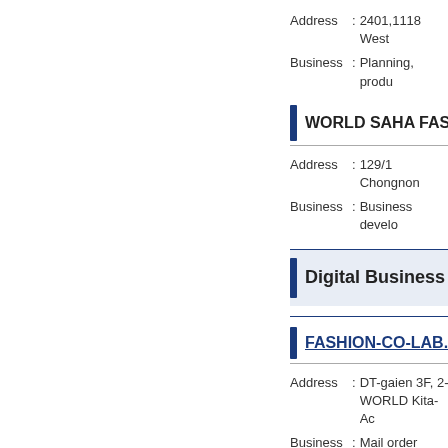Address : 2401,1118 West
Business : Planning, produ
WORLD SAHA FAS
Address : 129/1 Chongnon
Business : Business develo
Digital Business
FASHION-CO-LAB.
Address : DT-gaien 3F, 2-4
           WORLD Kita-Ac
Business : Mail order busin